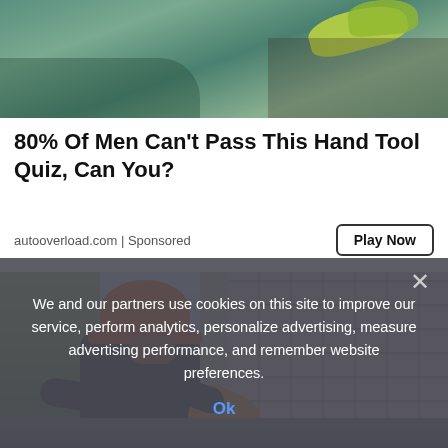[Figure (photo): Construction worker with yellow gloves working on a surface, shown from above with teal/green tones]
80% Of Men Can't Pass This Hand Tool Quiz, Can You?
autooverload.com | Sponsored
Play Now
[Figure (photo): Construction worker wearing orange hard hat and yellow gloves, working on a cinder block wall outdoors]
We and our partners use cookies on this site to improve our service, perform analytics, personalize advertising, measure advertising performance, and remember website preferences.
Ok